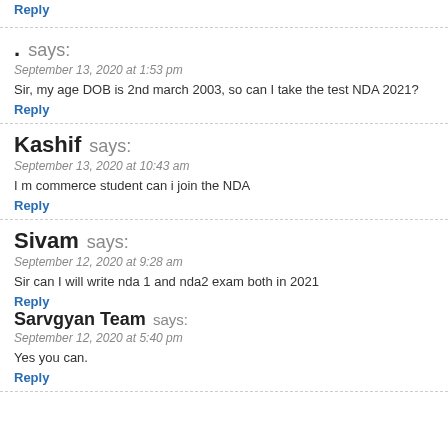Reply
. says:
September 13, 2020 at 1:53 pm
Sir, my age DOB is 2nd march 2003, so can I take the test NDA 2021?
Reply
Kashif says:
September 13, 2020 at 10:43 am
I m commerce student can i join the NDA
Reply
Sivam says:
September 12, 2020 at 9:28 am
Sir can I will write nda 1 and nda2 exam both in 2021
Reply
Sarvgyan Team says:
September 12, 2020 at 5:40 pm
Yes you can.
Reply